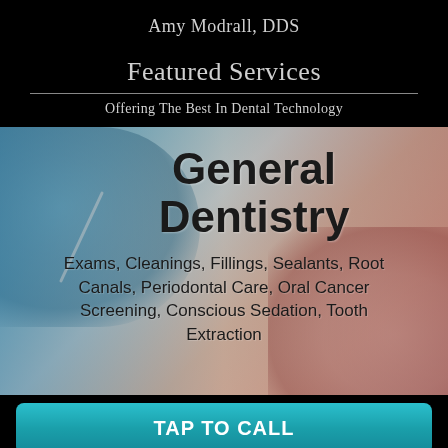Amy Modrall, DDS
Featured Services
Offering The Best In Dental Technology
[Figure (photo): Dental procedure photo showing gloved hands performing dental work on a patient, with dental model teeth visible on the right side. Overlaid with text 'General Dentistry' and a list of services.]
General Dentistry
Exams, Cleanings, Fillings, Sealants, Root Canals, Periodontal Care, Oral Cancer Screening, Conscious Sedation, Tooth Extraction
TAP TO CALL
Accepting New Patients - Call Now for Appointment